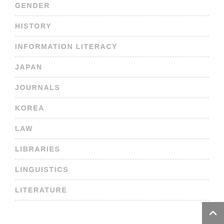GENDER
HISTORY
INFORMATION LITERACY
JAPAN
JOURNALS
KOREA
LAW
LIBRARIES
LINGUISTICS
LITERATURE